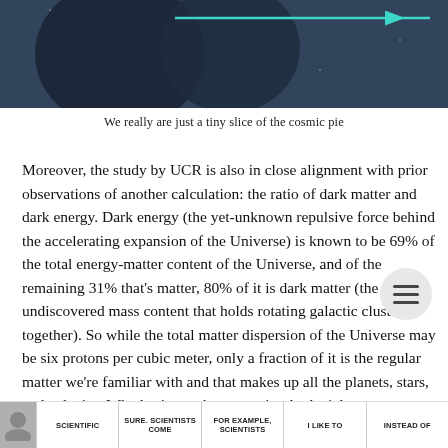[Figure (photo): Dark space/astronomy image showing celestial objects with a teal/cyan arrow on a dark blue background, partially visible at top of page]
We really are just a tiny slice of the cosmic pie
Moreover, the study by UCR is also in close alignment with prior observations of another calculation: the ratio of dark matter and dark energy. Dark energy (the yet-unknown repulsive force behind the accelerating expansion of the Universe) is known to be 69% of the total energy-matter content of the Universe, and of the remaining 31% that's matter, 80% of it is dark matter (the yet-undiscovered mass content that holds rotating galactic clusters together). So while the total matter dispersion of the Universe may be six protons per cubic meter, only a fraction of it is the regular matter we're familiar with and that makes up all the planets, stars, and galaxies. Wh else is out there, we simply don't know
[Figure (screenshot): Bottom navigation strip with avatar icon and text items: SCIENTIFIC, SURE. SCIENTISTS COME, FOR EXAMPLE, SCIENTISTS, I LIKE TO, INSTEAD OF]